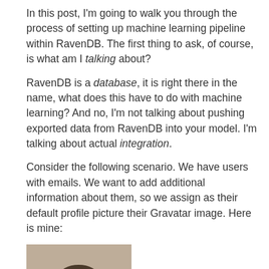In this post, I'm going to walk you through the process of setting up machine learning pipeline within RavenDB. The first thing to ask, of course, is what am I talking about?
RavenDB is a database, it is right there in the name, what does this have to do with machine learning? And no, I'm not talking about pushing exported data from RavenDB into your model. I'm talking about actual integration.
Consider the following scenario. We have users with emails. We want to add additional information about them, so we assign as their default profile picture their Gravatar image. Here is mine:
[Figure (photo): Headshot photo of a man with glasses wearing a dark suit, against a light background]
On the other hand, we have this one:
[Figure (logo): Partial view of a dark red raven logo with pixel/mosaic style detailing, partially cropped at bottom of page]